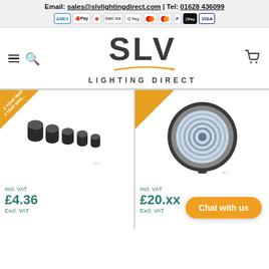Email: sales@slvlightingdirect.com | Tel: 01628 436099
[Figure (logo): SLV Lighting Direct logo with swoosh underline and payment icons]
[Figure (photo): Product image: black cylindrical caps, 5 pieces, with 2 Year Warranty badge. Price: Incl. VAT £4.36, Excl. VAT]
[Figure (photo): Product image: circular lens/reflector light fitting, with 2 Year Warranty badge. Price: Incl. VAT £20.xx, Excl. VAT]
Chat with us